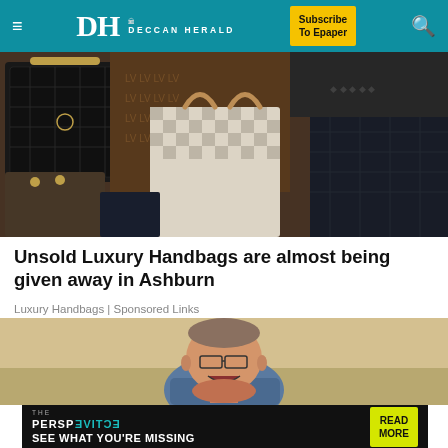DH DECCAN HERALD | Subscribe To Epaper
[Figure (photo): Collection of luxury designer handbags including Louis Vuitton, Chanel, and other brands arranged together]
Unsold Luxury Handbags are almost being given away in Ashburn
Luxury Handbags | Sponsored Links
[Figure (photo): Overweight man laughing while sitting on a couch]
[Figure (infographic): THE PERSPECTIVE advertisement banner - SEE WHAT YOU'RE MISSING with READ MORE button]